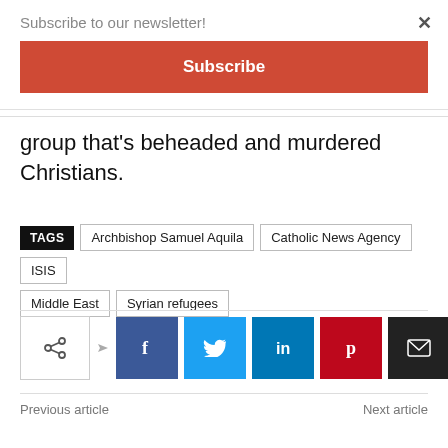Subscribe to our newsletter!
Subscribe
group that's beheaded and murdered Christians.
TAGS  Archbishop Samuel Aquila  Catholic News Agency  ISIS  Middle East  Syrian refugees
[Figure (infographic): Social share buttons: share icon with arrow, Facebook, Twitter, LinkedIn, Pinterest, Email, Print]
Previous article    Next article